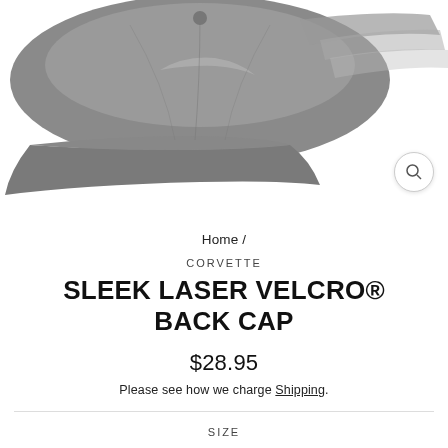[Figure (photo): Gray Corvette Sleek Laser Velcro Back Cap shown from above/front angle on white background, with a magnifying glass icon button in the bottom right corner]
Home /
CORVETTE
SLEEK LASER VELCRO® BACK CAP
$28.95
Please see how we charge Shipping.
SIZE